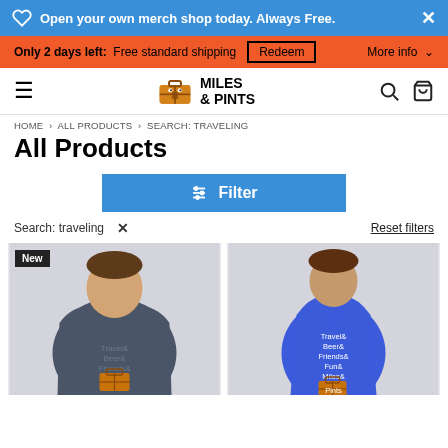Open your own merch shop today. Always Free.
Only 2 days left: Free standard shipping  Redeem  More info
Miles & Pints
HOME > ALL PRODUCTS > SEARCH: TRAVELING
All Products
Filter
Search: traveling ×
Reset filters
[Figure (photo): Man wearing a dark blue t-shirt with 'Travel& Beer& Friends&' text and a suitcase graphic, labeled New]
[Figure (photo): Woman wearing a blue tank top with 'Travel& Beer& Friends& Fun& Miles& Pints' text and a suitcase graphic]